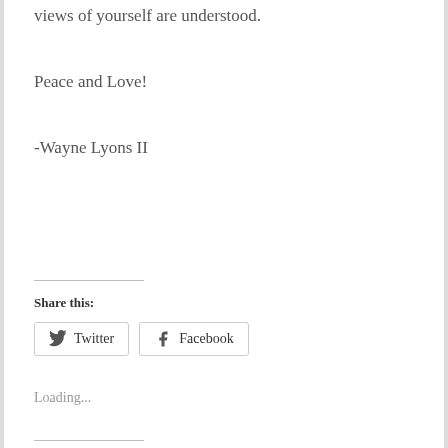views of yourself are understood.
Peace and Love!
-Wayne Lyons II
Share this:
[Figure (other): Twitter and Facebook share buttons]
Loading...